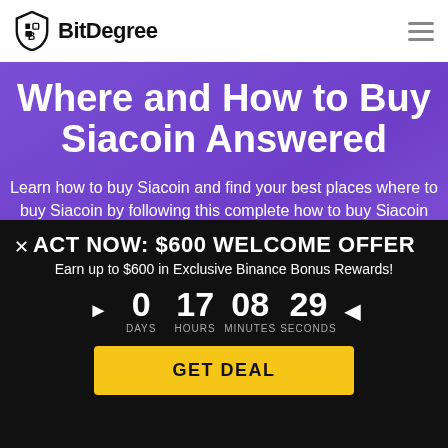BitDegree
Where and How to Buy Siacoin Answered
Learn how to buy Siacoin and find your best places where to buy Siacoin by following this complete how to buy Siacoin guide.
See BEST-RATED Exchanges
ACT NOW: $600 WELCOME OFFER
Earn up to $600 in Exclusive Binance Bonus Rewards!
0 DAYS  17 HOURS  08 MINUTES  29 SECONDS
GET DEAL